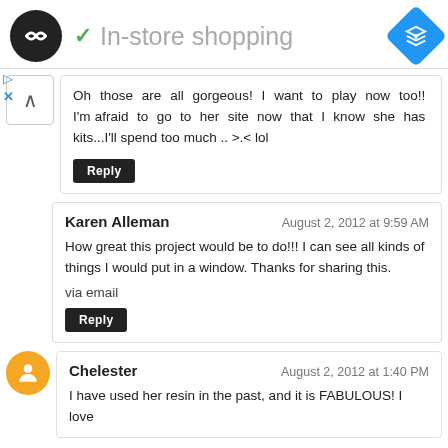In-store shopping
Oh those are all gorgeous! I want to play now too!! I'm afraid to go to her site now that I know she has kits...I'll spend too much .. >.< lol
Reply
Karen Alleman
August 2, 2012 at 9:59 AM
How great this project would be to do!!! I can see all kinds of things I would put in a window. Thanks for sharing this.
via email
Reply
Chelester
August 2, 2012 at 1:40 PM
I have used her resin in the past, and it is FABULOUS! I love